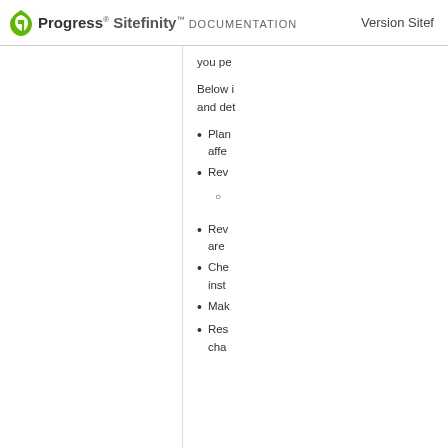Progress Sitefinity DOCUMENTATION | Version Sitef...
you pe...
Below i... and det...
Plan... affe...
Rev...
Rev... are...
Che... inst...
Mak...
Res... cha...